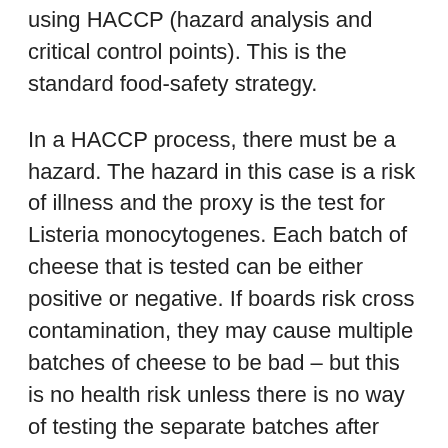using HACCP (hazard analysis and critical control points). This is the standard food-safety strategy.
In a HACCP process, there must be a hazard. The hazard in this case is a risk of illness and the proxy is the test for Listeria monocytogenes. Each batch of cheese that is tested can be either positive or negative. If boards risk cross contamination, they may cause multiple batches of cheese to be bad – but this is no health risk unless there is no way of testing the separate batches after aging. These are the 'control